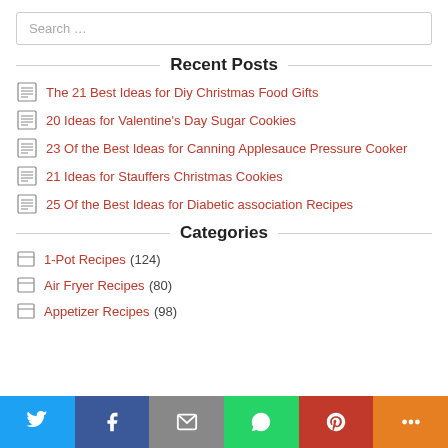Search …
Recent Posts
The 21 Best Ideas for Diy Christmas Food Gifts
20 Ideas for Valentine's Day Sugar Cookies
23 Of the Best Ideas for Canning Applesauce Pressure Cooker
21 Ideas for Stauffers Christmas Cookies
25 Of the Best Ideas for Diabetic association Recipes
Categories
1-Pot Recipes (124)
Air Fryer Recipes (80)
Appetizer Recipes (98)